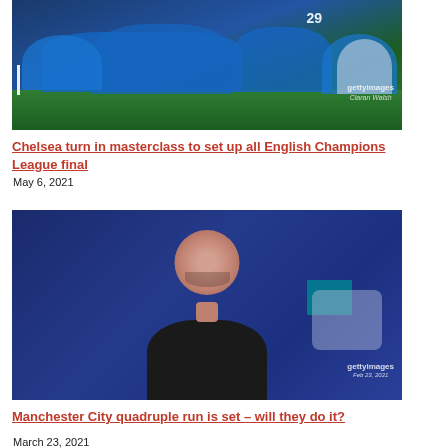[Figure (photo): Chelsea football players celebrating on the pitch in blue kits, Getty Images photo]
Chelsea turn in masterclass to set up all English Champions League final
May 6, 2021
[Figure (photo): Manchester City manager Pep Guardiola looking on, Getty Images photo]
Manchester City quadruple run is set – will they do it?
March 23, 2021